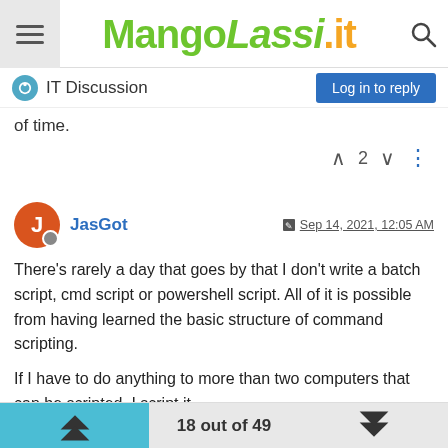MangoLassi.it
IT Discussion
of time.
JasGot  Sep 14, 2021, 12:05 AM
There's rarely a day that goes by that I don't write a batch script, cmd script or powershell script. All of it is possible from having learned the basic structure of command scripting.
If I have to do anything to more than two computers that can be scripted, I script it.
I would much rather have my techs learn how to install MSExchange with a version that has been around long enough to be able to find the answer to the issue online; than have them
18 out of 49